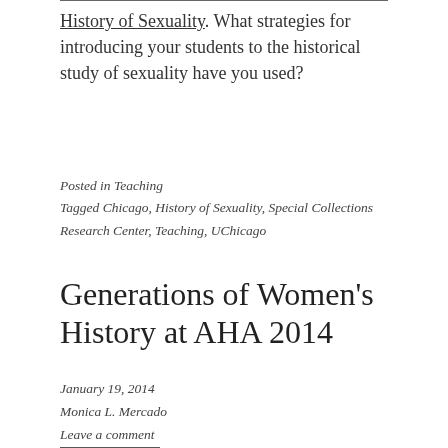History of Sexuality. What strategies for introducing your students to the historical study of sexuality have you used?
Posted in Teaching
Tagged Chicago, History of Sexuality, Special Collections Research Center, Teaching, UChicago
Generations of Women's History at AHA 2014
January 19, 2014
Monica L. Mercado
Leave a comment